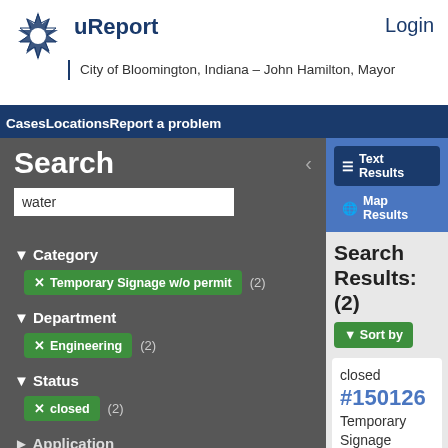uReport
Login
City of Bloomington, Indiana – John Hamilton, Mayor
CasesLocationsReport a problem
Search
water
Category
Temporary Signage w/o permit (2)
Department
Engineering (2)
Status
closed (2)
Application
Issue Type
Text Results
Map Results
Search Results: (2)
Sort by
closed #150126 Temporary Signage